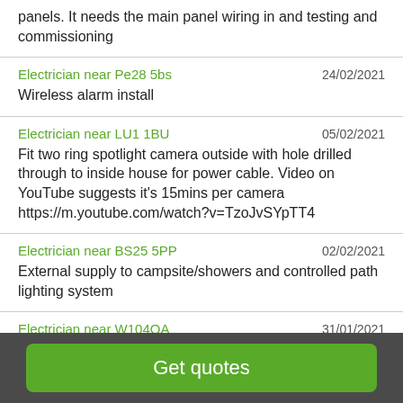panels. It needs the main panel wiring in and testing and commissioning
Electrician near Pe28 5bs | 24/02/2021 | Wireless alarm install
Electrician near LU1 1BU | 05/02/2021 | Fit two ring spotlight camera outside with hole drilled through to inside house for power cable. Video on YouTube suggests it's 15mins per camera https://m.youtube.com/watch?v=TzoJvSYpTT4
Electrician near BS25 5PP | 02/02/2021 | External supply to campsite/showers and controlled path lighting system
Electrician near W104QA | 31/01/2021 | Energy Efficiency Certificate For1 Bed Flat
Get quotes